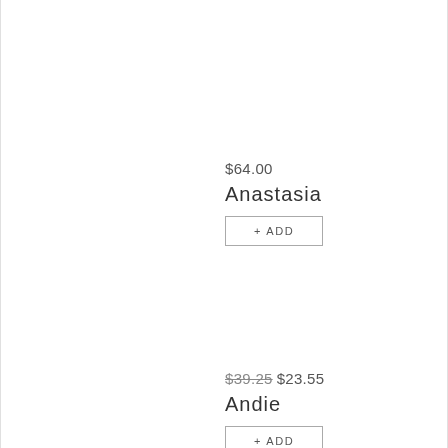$64.00
Anastasia
+ ADD
$39.25 $23.55
Andie
+ ADD